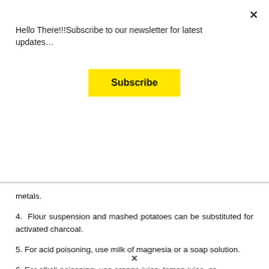Hello There!!!Subscribe to our newsletter for latest updates…
Subscribe
metals.
4. Flour suspension and mashed potatoes can be substituted for activated charcoal.
5. For acid poisoning, use milk of magnesia or a soap solution.
6. For alkali poisoning, use orange juice, lemon juice, or